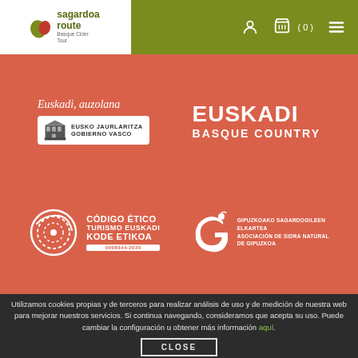[Figure (logo): Sagardoa Route Basque Cider Tour logo with green and red leaf icon]
[Figure (logo): Navigation icons: user, cart (0), hamburger menu on olive green background]
[Figure (logo): Euskadi auzolana - Eusko Jaurlaritza Gobierno Vasco logo on red background]
[Figure (logo): EUSKADI BASQUE COUNTRY logo in white on red background]
[Figure (logo): Código Ético Turismo Euskadi Kode Etikoa 0008344-2020 circular logo]
[Figure (logo): Gipuzkoako Sagardogileen Elkartea Asociación de Sidra Natural de Gipuzkoa logo]
Utilizamos cookies propias y de terceros para realizar análisis de uso y de medición de nuestra web para mejorar nuestros servicios. Si continua navegando, consideramos que acepta su uso. Puede cambiar la configuración u obtener más información aquí.
CLOSE